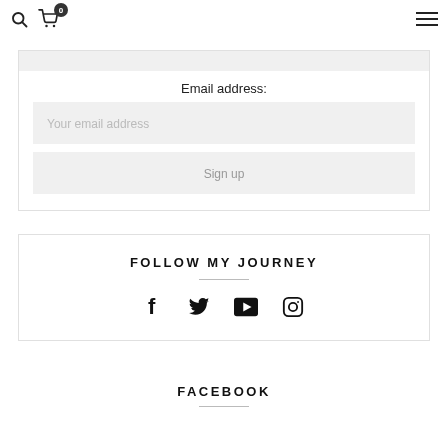Search icon, Cart with 0 items, Hamburger menu
Email address:
Your email address
Sign up
FOLLOW MY JOURNEY
[Figure (infographic): Social media icons: Facebook (f), Twitter (bird), YouTube (play button), Instagram (camera)]
FACEBOOK